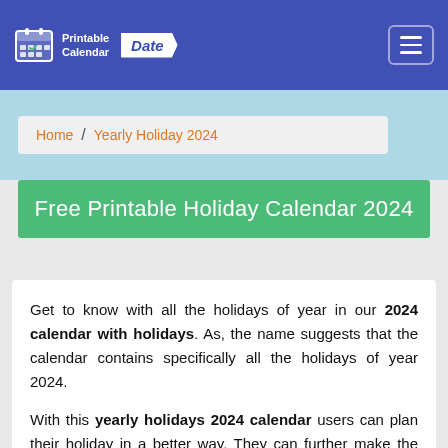Printable Calendar Date
Home / Yearly Holiday 2024
Free Printable Holiday Calendar 2024
Get to know with all the holidays of year in our 2024 calendar with holidays. As, the name suggests that the calendar contains specifically all the holidays of year 2024.
With this yearly holidays 2024 calendar users can plan their holiday in a better way. They can further make the most of these holidays by using